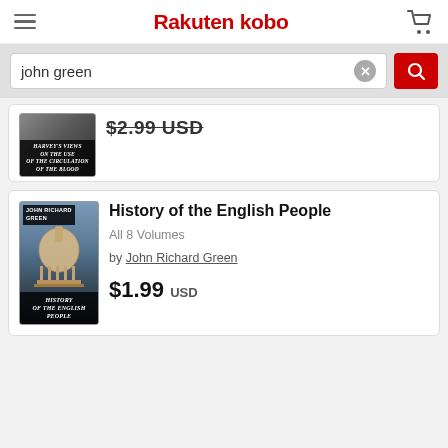[Figure (logo): Rakuten Kobo logo with hamburger menu and shopping cart icon]
john green
[Figure (photo): Book cover: Harvey's Views on the Use of the Circulation of the Blood, dark background]
$2.99 USD (strikethrough)
[Figure (photo): Book cover: History of the English People by John Richard Green, dome building photo]
History of the English People
All 8 Volumes
by John Richard Green
$1.99 USD